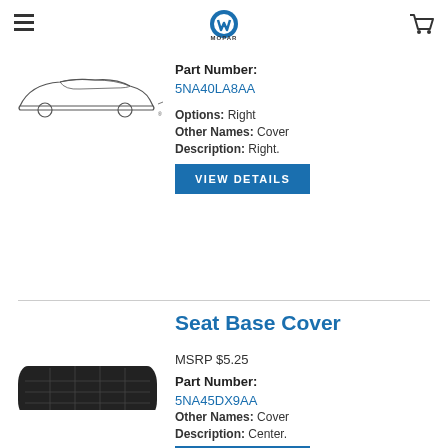MOPAR
[Figure (logo): Mopar logo with blue circle M icon and MOPAR text below]
[Figure (illustration): Line drawing silhouette of a car (Chrysler/Dodge vehicle)]
Part Number:
5NA40LA8AA
Options: Right
Other Names: Cover
Description: Right.
VIEW DETAILS
Seat Base Cover
MSRP $5.25
Part Number:
5NA45DX9AA
[Figure (photo): Black seat base cover (cushion) for automotive seat]
Other Names: Cover
Description: Center.
VIEW DETAILS